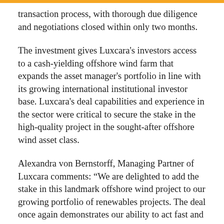transaction process, with thorough due diligence and negotiations closed within only two months.
The investment gives Luxcara's investors access to a cash-yielding offshore wind farm that expands the asset manager's portfolio in line with its growing international institutional investor base. Luxcara's deal capabilities and experience in the sector were critical to secure the stake in the high-quality project in the sought-after offshore wind asset class.
Alexandra von Bernstorff, Managing Partner of Luxcara comments: “We are delighted to add the stake in this landmark offshore wind project to our growing portfolio of renewables projects. The deal once again demonstrates our ability to act fast and close transactions with accelerated timelines.”
Arnoud Kuis, Managing Director of Offshore Wind at